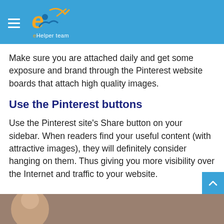eHelper team
Make sure you are attached daily and get some exposure and brand through the Pinterest website boards that attach high quality images.
Use the Pinterest buttons
Use the Pinterest site's Share button on your sidebar. When readers find your useful content (with attractive images), they will definitely consider hanging on them. Thus giving you more visibility over the Internet and traffic to your website.
[Figure (photo): Partial photo of a person at the bottom of the page]